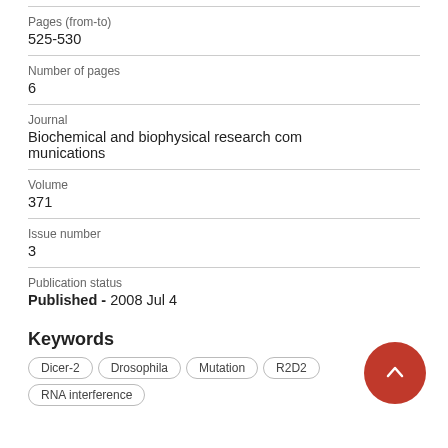Pages (from-to)
525-530
Number of pages
6
Journal
Biochemical and biophysical research communications
Volume
371
Issue number
3
Publication status
Published - 2008 Jul 4
Keywords
Dicer-2
Drosophila
Mutation
R2D2
RNA interference